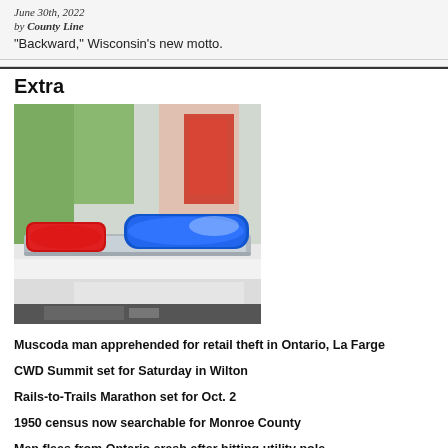June 30th, 2022
by County Line
“Backward,” Wisconsin’s new motto.
Extra
[Figure (photo): Police car roof with red and blue emergency lights (light bar), with blurred street background]
Muscoda man apprehended for retail theft in Ontario, La Farge
CWD Summit set for Saturday in Wilton
Rails-to-Trails Marathon set for Oct. 2
1950 census now searchable for Monroe County
Man flees from Ontario crash after hitting utility pole
News